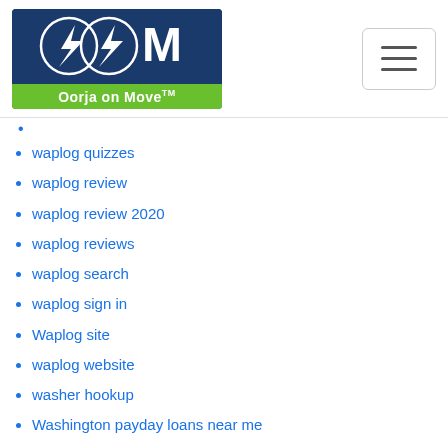Oorja on Move™
waplog quizzes
waplog review
waplog review 2020
waplog reviews
waplog search
waplog sign in
Waplog site
waplog website
washer hookup
Washington payday loans near me
Washington payday loans online
Washington Personal Loans Near Me
Web-Amor kosten
Webcam Chat
weekend payday loans